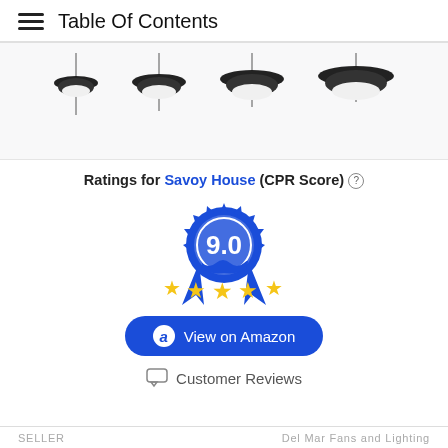Table Of Contents
[Figure (photo): Four ceiling light fixtures shown in a row, each with a dark disc-shaped shade and a long hanging cord, varying in size from small to large left to right.]
Ratings for Savoy House (CPR Score) ?
[Figure (infographic): Blue award badge/ribbon with the score 9.0 displayed in the center circle, and four gold stars below the ribbon tails.]
[Figure (other): Blue rounded button with Amazon 'a' logo and text 'View on Amazon']
Customer Reviews
SELLER   Del Mar Fans and Lighting